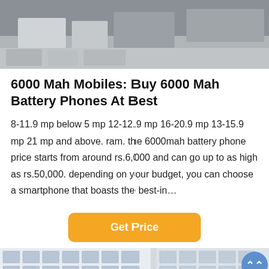[Figure (photo): Top portion of a photo showing an outdoor area with boxes/equipment on a concrete surface and vehicles in the background]
6000 Mah Mobiles: Buy 6000 Mah Battery Phones At Best
8-11.9 mp below 5 mp 12-12.9 mp 16-20.9 mp 13-15.9 mp 21 mp and above. ram. the 6000mah battery phone price starts from around rs.6,000 and can go up to as high as rs.50,000. depending on your budget, you can choose a smartphone that boasts the best-in…
[Figure (other): Orange 'Get Price' button]
[Figure (photo): Photo of a building exterior with Chinese red characters on it and a cream/white gear or decorative element in the foreground. A blue circular up-arrow button in top-right corner.]
Leave Message   Chat Online